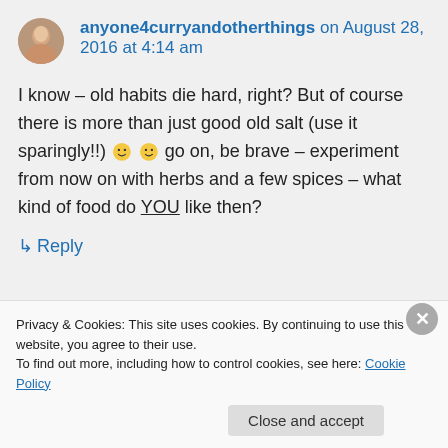anyone4curryandotherthings on August 28, 2016 at 4:14 am
I know – old habits die hard, right? But of course there is more than just good old salt (use it sparingly!!) 🙂 🙂 go on, be brave – experiment from now on with herbs and a few spices – what kind of food do YOU like then?
↳ Reply
Privacy & Cookies: This site uses cookies. By continuing to use this website, you agree to their use.
To find out more, including how to control cookies, see here: Cookie Policy